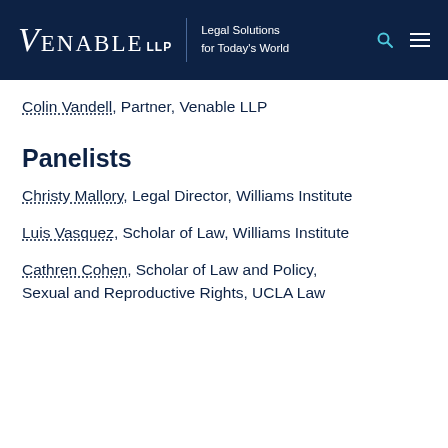VENABLE LLP | Legal Solutions for Today's World
Colin Vandell, Partner, Venable LLP
Panelists
Christy Mallory, Legal Director, Williams Institute
Luis Vasquez, Scholar of Law, Williams Institute
Cathren Cohen, Scholar of Law and Policy, Sexual and Reproductive Rights, UCLA Law